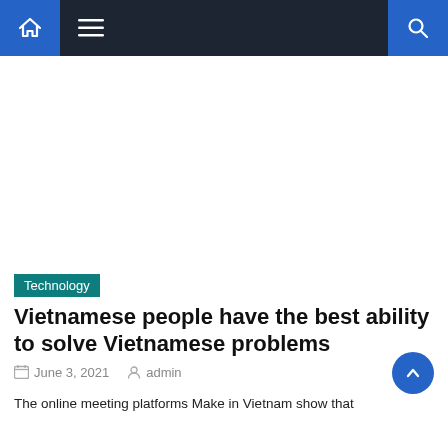Navigation bar with home icon, menu icon, and search icon
[Figure (other): Advertisement or blank white area placeholder]
Technology
Vietnamese people have the best ability to solve Vietnamese problems
June 3, 2021   admin
The online meeting platforms Make in Vietnam show that